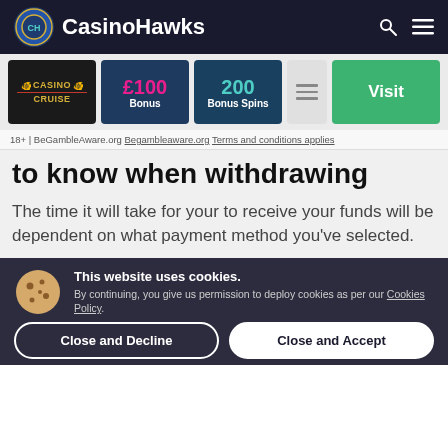CasinoHawks
[Figure (screenshot): Casino Cruise promotional card with £100 Bonus, 200 Bonus Spins, and Visit button]
18+ | BeGambleAware.org Begambleaware.org Terms and conditions applies
to know when withdrawing
The time it will take for your to receive your funds will be dependent on what payment method you've selected.
This website uses cookies. By continuing, you give us permission to deploy cookies as per our Cookies Policy.